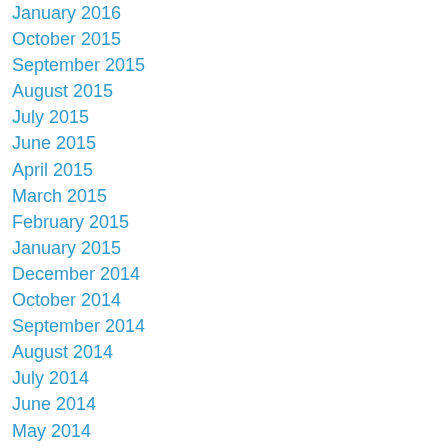January 2016
October 2015
September 2015
August 2015
July 2015
June 2015
April 2015
March 2015
February 2015
January 2015
December 2014
October 2014
September 2014
August 2014
July 2014
June 2014
May 2014
April 2014
March 2014
February 2014
January 2014